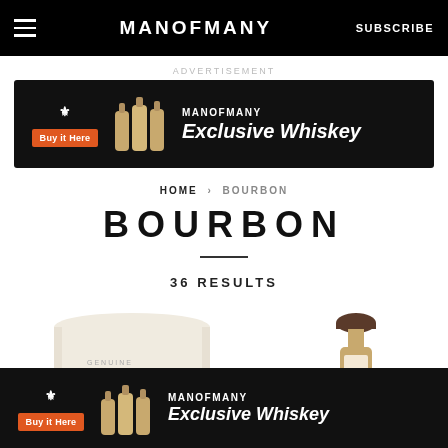MANOFMANY | SUBSCRIBE
ADVERTISEMENT
[Figure (screenshot): MANOFMANY Exclusive Whiskey advertisement banner with Buy it Here orange button and whiskey bottle images]
HOME > BOURBON
BOURBON
36 RESULTS
[Figure (photo): Two bourbon whiskey products partially shown: a cylindrical cream-colored box labeled GENUINE and a bottle with a dark rounded cap]
[Figure (screenshot): MANOFMANY Exclusive Whiskey advertisement banner at bottom with Buy it Here orange button and whiskey bottle images]